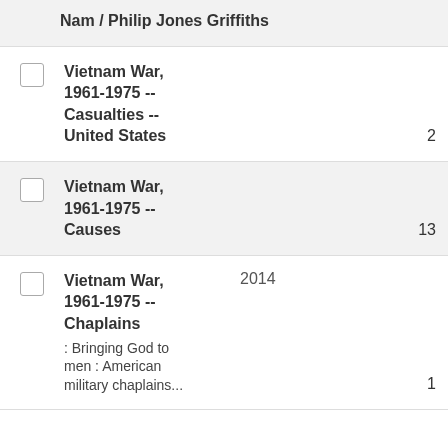Nam / Philip Jones Griffiths
Vietnam War, 1961-1975 -- Casualties -- United States
Vietnam War, 1961-1975 -- Causes
Vietnam War, 1961-1975 -- Chaplains : Bringing God to men : American military chaplains...